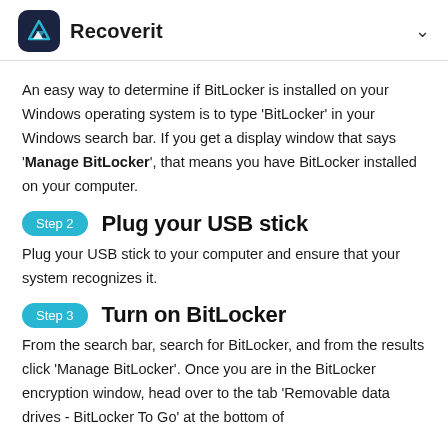Recoverit
An easy way to determine if BitLocker is installed on your Windows operating system is to type 'BitLocker' in your Windows search bar. If you get a display window that says 'Manage BitLocker', that means you have BitLocker installed on your computer.
Step 2   Plug your USB stick
Plug your USB stick to your computer and ensure that your system recognizes it.
Step 3   Turn on BitLocker
From the search bar, search for BitLocker, and from the results click 'Manage BitLocker'. Once you are in the BitLocker encryption window, head over to the tab 'Removable data drives - BitLocker To Go' at the bottom of